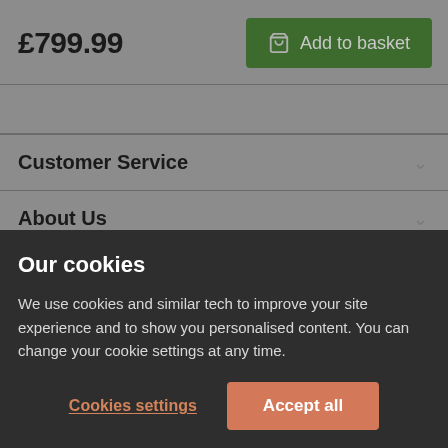£799.99
Add to basket
Customer Service
About Us
Inspiration
Our cookies
We use cookies and similar tech to improve your site experience and to show you personalised content. You can change your cookie settings at any time.
Cookies settings
Accept all